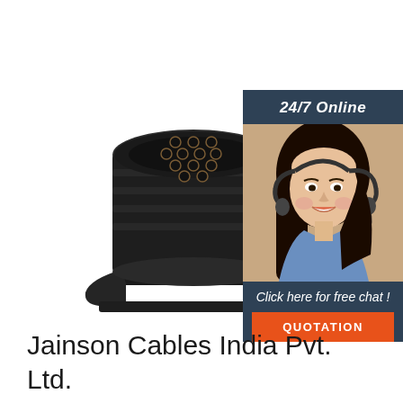[Figure (photo): Black plastic 13-pin trailer socket connector with multiple gold-pin contacts visible on the face, and a mounting bracket/clamp at the bottom]
[Figure (photo): Chat support banner: dark blue/slate header reading '24/7 Online', photo of smiling woman with headset, dark blue lower section with italic text 'Click here for free chat !' and an orange button labeled 'QUOTATION']
Jainson Cables India Pvt. Ltd.